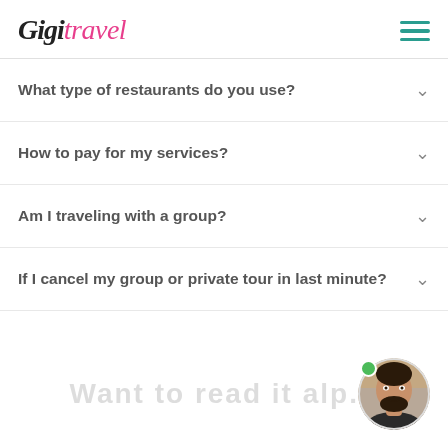[Figure (logo): GigiTravel logo in cursive/script font with 'Gigi' in black and 'travel' in pink]
What type of restaurants do you use?
How to pay for my services?
Am I traveling with a group?
If I cancel my group or private tour in last minute?
[Figure (photo): Chat avatar showing a smiling man with dark beard, with a green online indicator dot]